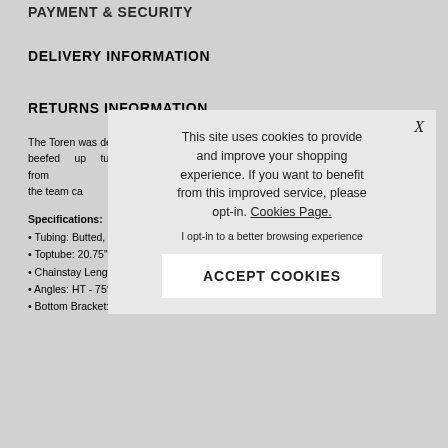PAYMENT & SECURITY
DELIVERY INFORMATION
RETURNS INFORMATION
The Toren was designed as Radio's street steed. With a tall 9" standover height and beefed up tubing, this frame was designed to take a beating from tyres and 2 new co most of the team ca
Specifications:
• Tubing: Butted, se
• Toptube: 20.75" &
• Chainstay Length:
• Angles: HT - 75° |
• Bottom Bracket: machined and heat-treated
This site uses cookies to provide and improve your shopping experience. If you want to benefit from this improved service, please opt-in. Cookies Page.
I opt-in to a better browsing experience
ACCEPT COOKIES